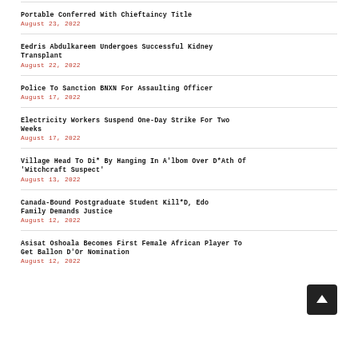Portable Conferred With Chieftaincy Title
August 23, 2022
Eedris Abdulkareem Undergoes Successful Kidney Transplant
August 22, 2022
Police To Sanction BNXN For Assaulting Officer
August 17, 2022
Electricity Workers Suspend One-Day Strike For Two Weeks
August 17, 2022
Village Head To Di* By Hanging In A'lbom Over D*Ath Of 'Witchcraft Suspect'
August 13, 2022
Canada-Bound Postgraduate Student Kill*D, Edo Family Demands Justice
August 12, 2022
Asisat Oshoala Becomes First Female African Player To Get Ballon D'Or Nomination
August 12, 2022